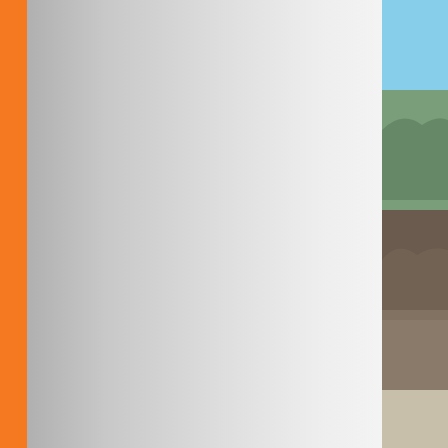[Figure (photo): Orange sidebar bar on left edge of webpage]
[Figure (photo): Gray gradient panel forming left navigation area of webpage]
[Figure (photo): Cropped outdoor photo top right showing blue sky and rocky mountain terrain]
It is now time to go bac
Day 7  -  West Yellowstone  -  About 12 ho
We will take you to Yello through the forest into Y Yellowstone Giant Scre
[Figure (photo): Partial photo bottom right showing interior room]
[Figure (other): Blue chat bubble icon with green online dot]